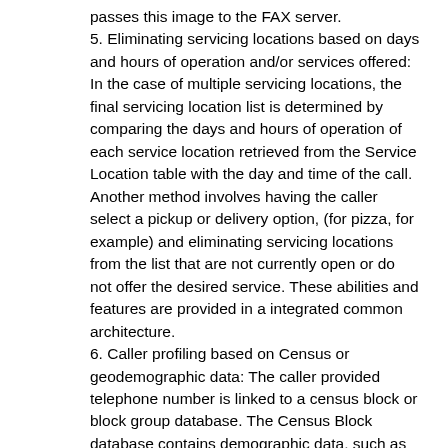passes this image to the FAX server.
5. Eliminating servicing locations based on days and hours of operation and/or services offered: In the case of multiple servicing locations, the final servicing location list is determined by comparing the days and hours of operation of each service location retrieved from the Service Location table with the day and time of the call. Another method involves having the caller select a pickup or delivery option, (for pizza, for example) and eliminating servicing locations from the list that are not currently open or do not offer the desired service. These abilities and features are provided in a integrated common architecture.
6. Caller profiling based on Census or geodemographic data: The caller provided telephone number is linked to a census block or block group database. The Census Block database contains demographic data, such as race, age, median household size and so forth, or a single numeric geodemographic code that is a composite of the census information which links into geodemographic databases.